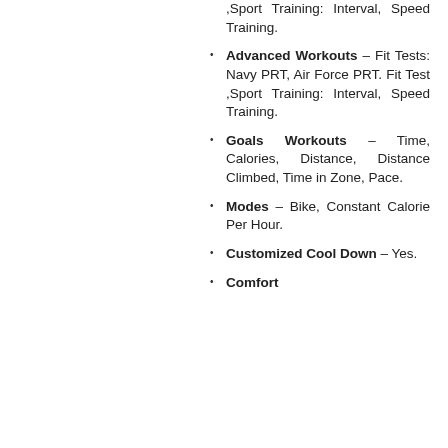,Sport Training: Interval, Speed Training.
Advanced Workouts – Fit Tests: Navy PRT, Air Force PRT. Fit Test ,Sport Training: Interval, Speed Training.
Goals Workouts – Time, Calories, Distance, Distance Climbed, Time in Zone, Pace.
Modes – Bike, Constant Calorie Per Hour.
Customized Cool Down – Yes.
Comfort